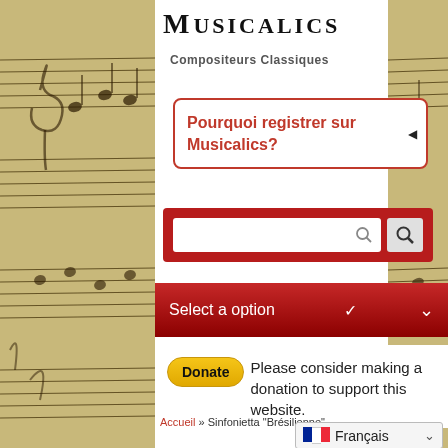Musicalics
Compositeurs Classiques
Pourquoi registrer sur Musicalics?
[Figure (other): Search bar with text input and magnifying glass button on dark red background]
Select a option
Donate — Please consider making a donation to support this website.
Accueil » Sinfonietta "Brésilienne"
Français